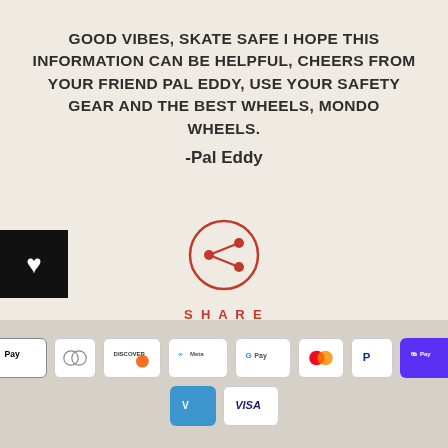GOOD VIBES, SKATE SAFE I HOPE THIS INFORMATION CAN BE HELPFUL, CHEERS FROM YOUR FRIEND PAL EDDY, USE YOUR SAFETY GEAR AND THE BEST WHEELS, MONDO WHEELS.
-Pal Eddy
[Figure (other): Black square button with white heart icon on left edge]
[Figure (other): Red circle share icon with share/network symbol inside, labelled SHARE below in red uppercase letters]
[Figure (other): Row of payment method logos: Apple Pay, Diners Club, Discover, Meta Pay, Google Pay, Mastercard, PayPal, Shop Pay, Venmo, Visa]